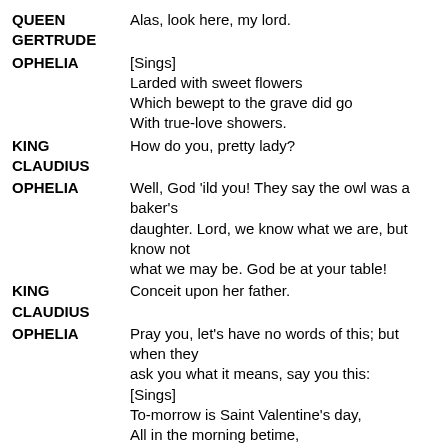QUEEN GERTRUDE | Alas, look here, my lord.
OPHELIA | [Sings]
Larded with sweet flowers
Which bewept to the grave did go
With true-love showers.
KING CLAUDIUS | How do you, pretty lady?
OPHELIA | Well, God 'ild you! They say the owl was a baker's daughter. Lord, we know what we are, but know not what we may be. God be at your table!
KING CLAUDIUS | Conceit upon her father.
OPHELIA | Pray you, let's have no words of this; but when they ask you what it means, say you this:
[Sings]
To-morrow is Saint Valentine's day,
All in the morning betime,
And I a maid at your window,
To be your Valentine.
Then up he rose, and donn'd his clothes,
And dupp'd the chamber-door;